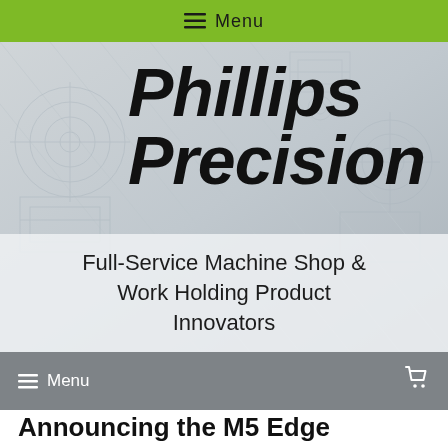Menu
[Figure (logo): Phillips Precision company logo and hero banner with engineering blueprint background drawings. Large bold italic text reading 'Phillips Precision' over faint mechanical/engineering schematic drawings on a gray gradient background.]
Full-Service Machine Shop & Work Holding Product Innovators
Menu
Announcing the M5 Edge Finder™